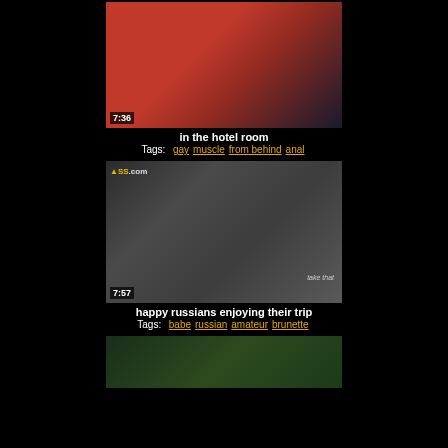[Figure (photo): Thumbnail image of a muscular man in a hotel room with a red wall, duration 7:36]
in the hotel room
Tags: gay  muscle  from behind  anal
[Figure (photo): Thumbnail image of people outdoors near a vehicle, watermark ASS.com, duration 7:57, subtitle 'take that']
happy russians enjoying their trip
Tags: babe  russian  amateur  brunette
[Figure (photo): Partial thumbnail image showing outdoor greenery scene at bottom of page]